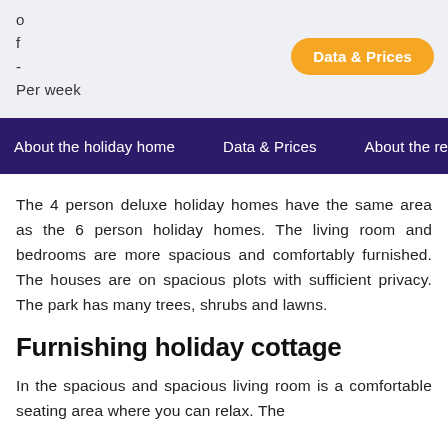o
f
-
Per week
Data & Prices
About the holiday home   Data & Prices   About the res…
The 4 person deluxe holiday homes have the same area as the 6 person holiday homes. The living room and bedrooms are more spacious and comfortably furnished. The houses are on spacious plots with sufficient privacy. The park has many trees, shrubs and lawns.
Furnishing holiday cottage
In the spacious and spacious living room is a comfortable seating area where you can relax. The